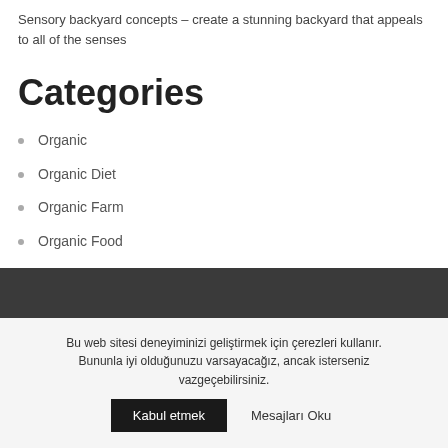Sensory backyard concepts – create a stunning backyard that appeals to all of the senses
Categories
Organic
Organic Diet
Organic Farm
Organic Food
Organic Textile
Pure
Bu web sitesi deneyiminizi geliştirmek için çerezleri kullanır. Bununla iyi olduğunuzu varsayacağız, ancak isterseniz vazgeçebilirsiniz. Kabul etmek Mesajları Oku